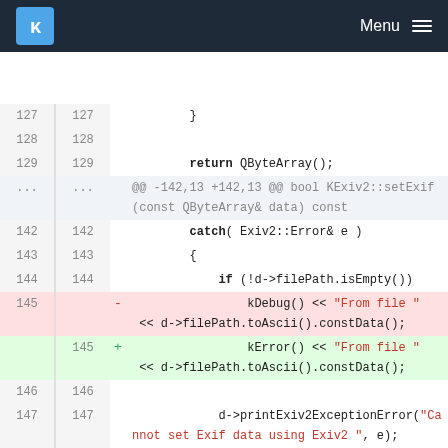KDE Menu
[Figure (screenshot): Code diff view showing C++ source code with line numbers, deleted line (kDebug) highlighted in red and added line (kError) highlighted in green, on a white background with a dark KDE navigation header.]